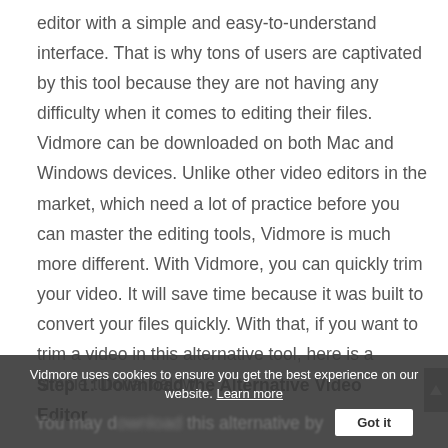editor with a simple and easy-to-understand interface. That is why tons of users are captivated by this tool because they are not having any difficulty when it comes to editing their files. Vidmore can be downloaded on both Mac and Windows devices. Unlike other video editors in the market, which need a lot of practice before you can master the editing tools, Vidmore is much more different. With Vidmore, you can quickly trim your video. It will save time because it was built to convert your files quickly. With that, if you want to trim a video in this alternative tool, here is a simple tutorial below.
Step 1: Download the Alternative Video Editor
You may download this alternative by
Vidmore uses cookies to ensure you get the best experience on our website. Learn more